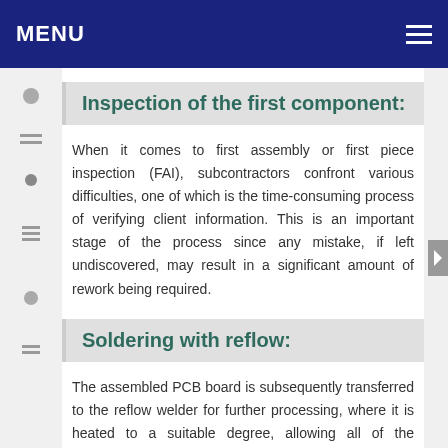MENU
Inspection of the first component:
When it comes to first assembly or first piece inspection (FAI), subcontractors confront various difficulties, one of which is the time-consuming process of verifying client information. This is an important stage of the process since any mistake, if left undiscovered, may result in a significant amount of rework being required.
Soldering with reflow:
The assembled PCB board is subsequently transferred to the reflow welder for further processing, where it is heated to a suitable degree, allowing all of the electrical connections between the component and the